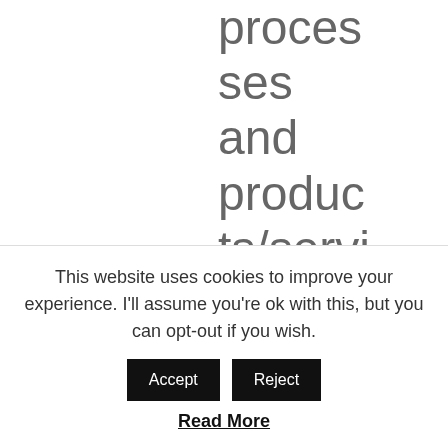processes and products/services
customer service
how
This website uses cookies to improve your experience. I'll assume you're ok with this, but you can opt-out if you wish.
Read More